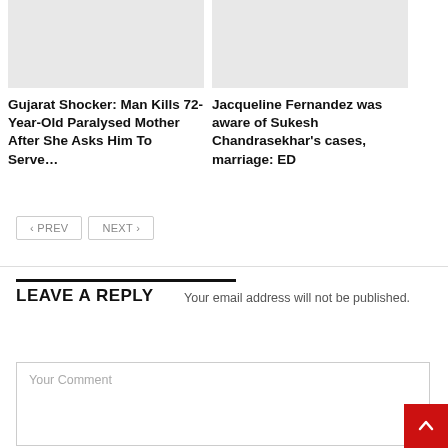[Figure (photo): Placeholder image (light grey rectangle) for article 1]
Gujarat Shocker: Man Kills 72-Year-Old Paralysed Mother After She Asks Him To Serve...
[Figure (photo): Placeholder image (light grey rectangle) for article 2]
Jacqueline Fernandez was aware of Sukesh Chandrasekhar's cases, marriage: ED
‹ PREV
NEXT ›
LEAVE A REPLY
Your email address will not be published.
Your Comment